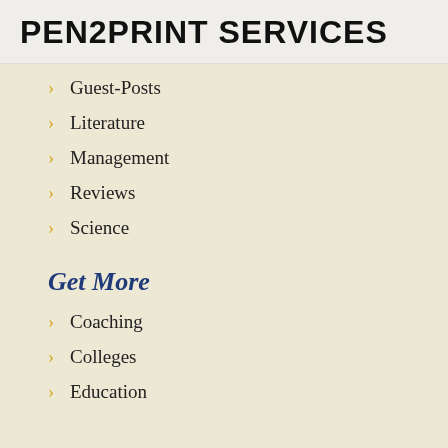PEN2PRINT SERVICES
Guest-Posts
Literature
Management
Reviews
Science
Get More
Coaching
Colleges
Education